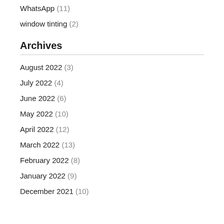WhatsApp (11)
window tinting (2)
Archives
August 2022 (3)
July 2022 (4)
June 2022 (6)
May 2022 (10)
April 2022 (12)
March 2022 (13)
February 2022 (8)
January 2022 (9)
December 2021 (10)